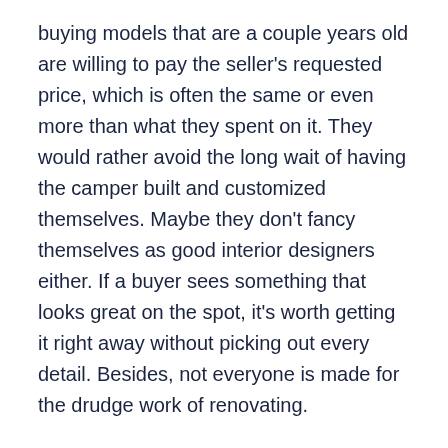buying models that are a couple years old are willing to pay the seller's requested price, which is often the same or even more than what they spent on it. They would rather avoid the long wait of having the camper built and customized themselves. Maybe they don't fancy themselves as good interior designers either. If a buyer sees something that looks great on the spot, it's worth getting it right away without picking out every detail. Besides, not everyone is made for the drudge work of renovating.
Follow Your Passion, Not the Trends
Even still, the question of whether or not the new uptick in RVing is a passing trend still